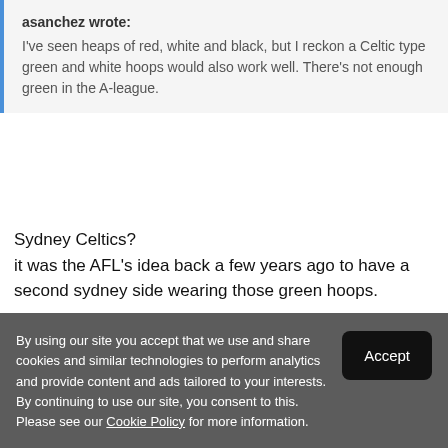asanchez wrote: I've seen heaps of red, white and black, but I reckon a Celtic type green and white hoops would also work well. There's not enough green in the A-league.
Sydney Celtics? it was the AFL's idea back a few years ago to have a second sydney side wearing those green hoops.
By using our site you accept that we use and share cookies and similar technologies to perform analytics and provide content and ads tailored to your interests. By continuing to use our site, you consent to this. Please see our Cookie Policy for more information.